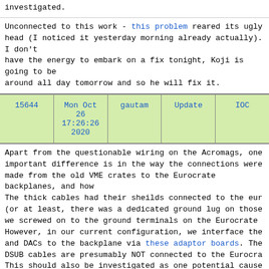investigated.
Unconnected to this work - this problem reared its ugly head (I noticed it yesterday morning already actually). I don't have the energy to embark on a fix tonight, Koji is going to be around all day tomorrow and so he will fix it.
| 15644 | Mon Oct 26 17:26:26 2020 | gautam | Update | IOC |
| --- | --- | --- | --- | --- |
Apart from the questionable wiring on the Acromags, one important difference is in the way the connections were made from the old VME crates to the Eurocrate backplanes, and how they are now. The thick cables had their sheilds connected to the eurocrate (or at least, there was a dedicated ground lug on those cables we screwed on to the ground terminals on the Eurocrate backplane). However, in our current configuration, we interface the ADCs and DACs to the backplane via these adaptor boards. The shields of DSUB cables are presumably NOT connected to the Eurocrate ground. This should also be investigated as one potential cause of the grounding issue - while on some of the Eurocrate modules, the connectors may have either the "A" or "C" row of connectors tied to ground, some may not, and the TTFSS may suffer from such an issue.

Note that we have this problem in all of the slow machines that are upgraded to Acromag (if this turns out to be the issue)